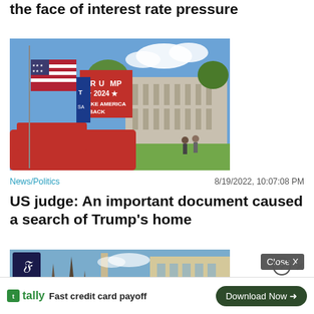Wall Street ends the week at multi-month highs in the face of interest rate pressure
[Figure (photo): Photo of American flag and Trump 2024 Make America Back flag in front of a building]
News/Politics
8/19/2022, 10:07:08 PM
US judge: An important document caused a search of Trump's home
[Figure (photo): Photo of European city with church spires and building facade, with Frankfurter Allgemeine logo overlay and Close X button]
[Figure (other): Tally advertisement banner: Fast credit card payoff with Download Now button]